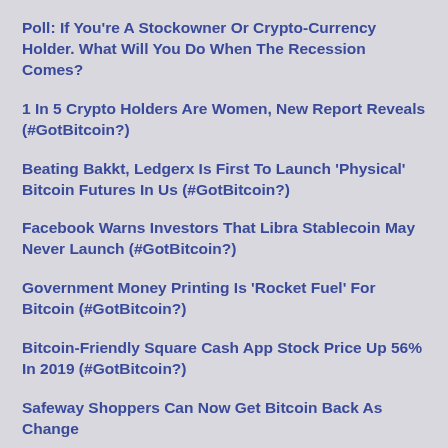Poll: If You're A Stockowner Or Crypto-Currency Holder. What Will You Do When The Recession Comes?
1 In 5 Crypto Holders Are Women, New Report Reveals (#GotBitcoin?)
Beating Bakkt, Ledgerx Is First To Launch 'Physical' Bitcoin Futures In Us (#GotBitcoin?)
Facebook Warns Investors That Libra Stablecoin May Never Launch (#GotBitcoin?)
Government Money Printing Is 'Rocket Fuel' For Bitcoin (#GotBitcoin?)
Bitcoin-Friendly Square Cash App Stock Price Up 56% In 2019 (#GotBitcoin?)
Safeway Shoppers Can Now Get Bitcoin Back As Change